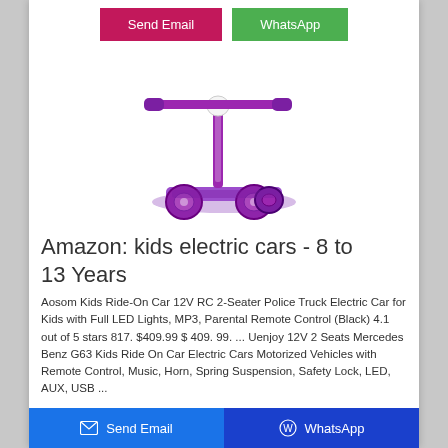[Figure (other): Send Email button (pink/magenta) and WhatsApp button (green) at top]
[Figure (photo): Purple kids scooter with three wheels, LED lights, and handlebar]
Amazon: kids electric cars - 8 to 13 Years
Aosom Kids Ride-On Car 12V RC 2-Seater Police Truck Electric Car for Kids with Full LED Lights, MP3, Parental Remote Control (Black) 4.1 out of 5 stars 817. $409.99 $ 409. 99. ... Uenjoy 12V 2 Seats Mercedes Benz G63 Kids Ride On Car Electric Cars Motorized Vehicles with Remote Control, Music, Horn, Spring Suspension, Safety Lock, LED, AUX, USB ...
[Figure (other): Bottom bar with Send Email button (blue) and WhatsApp button (dark blue)]